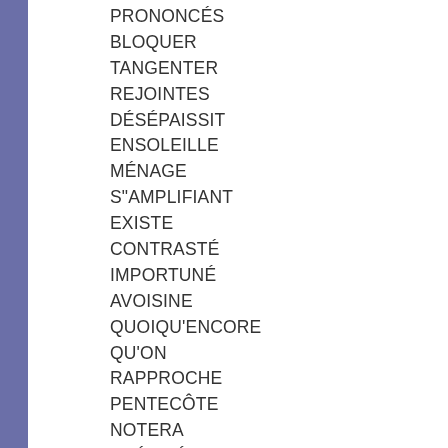PRONONCÉS
BLOQUER
TANGENTER
REJOINTES
DÉSÉPAISSIT
ENSOLEILLE
MÉNAGE
S"AMPLIFIANT
EXISTE
CONTRASTÉ
IMPORTUNÉ
AVOISINE
QUOIQU'ENCORE
QU'ON
RAPPROCHE
PENTECÔTE
NOTERA
PRÉCITÉES